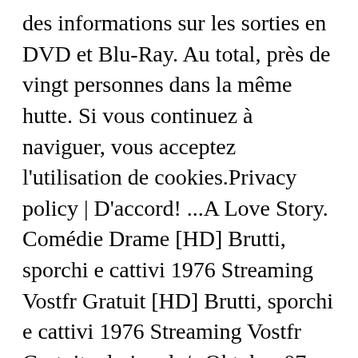des informations sur les sorties en DVD et Blu-Ray. Au total, près de vingt personnes dans la même hutte. Si vous continuez à naviguer, vous acceptez l'utilisation de cookies.Privacy policy | D'accord! ...A Love Story. Comédie Drame [HD] Brutti, sporchi e cattivi 1976 Streaming Vostfr Gratuit [HD] Brutti, sporchi e cattivi 1976 Streaming Vostfr Gratuit admin a la/s Oktober 07, 2020 ★★★★☆ Évaluation : 7.1 sur 10 basé sur 3147 avis. Brutti, sporchi e cattivi (1976) cast and crew credits, including actors, actresses, directors, writers and more. Browse more videos. FILM (commeda) di Ettore Scola con Nino Manfredi, Marcella Michelangeli, Marcella Battisti. (Nu există încă evaluări) Încarc... 1h 25m 2017. +16 Interdit aux moins de 16 ans peuvent